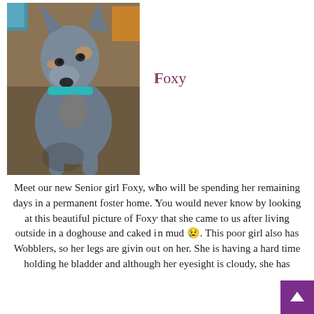[Figure (photo): A grey/blue Doberman dog with a teal collar sitting in what appears to be a brown couch or chair, looking slightly to the side.]
Foxy
Meet our new Senior girl Foxy, who will be spending her remaining days in a permanent foster home. You would never know by looking at this beautiful picture of Foxy that she came to us after living outside in a doghouse and caked in mud 😢. This poor girl also has Wobblers, so her legs are giving out on her. She is having a hard time holding her bladder and although her eyesight is cloudy, she has